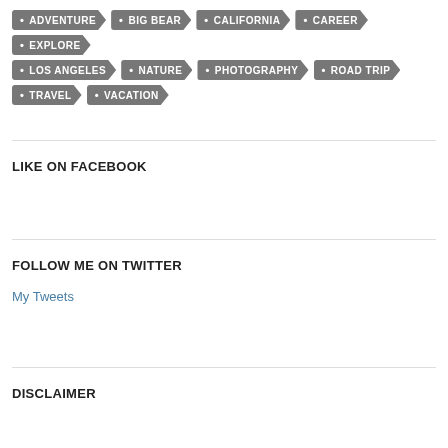ADVENTURE
BIG BEAR
CALIFORNIA
CAREER
EXPLORE
LOS ANGELES
NATURE
PHOTOGRAPHY
ROAD TRIP
TRAVEL
VACATION
LIKE ON FACEBOOK
FOLLOW ME ON TWITTER
My Tweets
DISCLAIMER